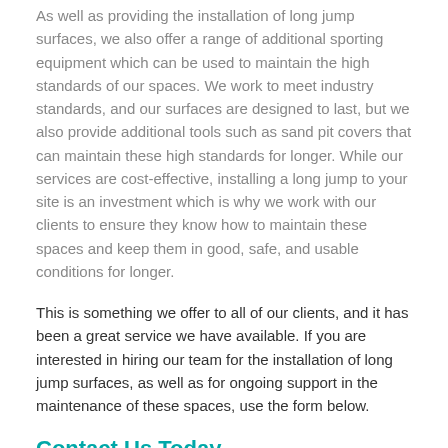As well as providing the installation of long jump surfaces, we also offer a range of additional sporting equipment which can be used to maintain the high standards of our spaces. We work to meet industry standards, and our surfaces are designed to last, but we also provide additional tools such as sand pit covers that can maintain these high standards for longer. While our services are cost-effective, installing a long jump to your site is an investment which is why we work with our clients to ensure they know how to maintain these spaces and keep them in good, safe, and usable conditions for longer.
This is something we offer to all of our clients, and it has been a great service we have available. If you are interested in hiring our team for the installation of long jump surfaces, as well as for ongoing support in the maintenance of these spaces, use the form below.
Contact Us Today
Installing a long jump facility onto your site is a great long term investment and something that can improve schoolyards across the country. Long jumps can be a great form of exercise and are said